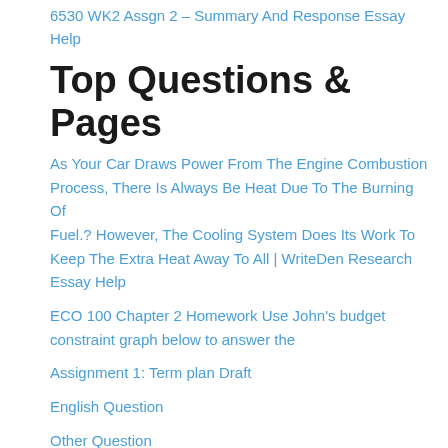6530 WK2 Assgn 2 – Summary And Response Essay Help
Top Questions & Pages
As Your Car Draws Power From The Engine Combustion Process, There Is Always Be Heat Due To The Burning Of Fuel.? However, The Cooling System Does Its Work To Keep The Extra Heat Away To All | WriteDen Research Essay Help
ECO 100 Chapter 2 Homework Use John's budget constraint graph below to answer the
Assignment 1: Term plan Draft
English Question
Other Question
Compare and contrast each of the learning theories covered in this course. Examine each theory for its strengths and